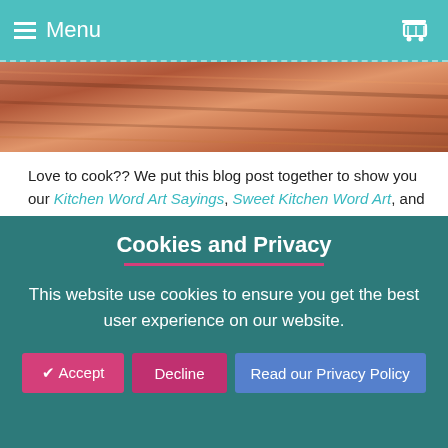☰ Menu
[Figure (photo): Wood grain texture photo strip in warm reddish-brown tones]
Love to cook?? We put this blog post together to show you our Kitchen Word Art Sayings, Sweet Kitchen Word Art, and Whimsical Kitchen Word Art sets! We can't get enough of these adorable sets word art sets! We've been stitching these out on anything kitchen related... Tablecloths, table runners, towels and more!! We hope you enjoy these adorable sets as much as we do!
Continue reading →
Cookies and Privacy
This website use cookies to ensure you get the best user experience on our website.